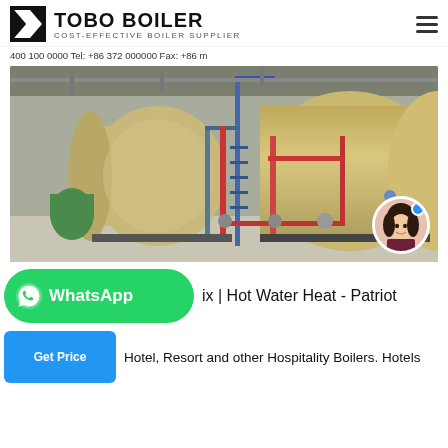TOBO BOILER — COST-EFFECTIVE BOILER SUPPLIER
400 100 0000 Tel: +86 372 000000 Fax: +86 …
[Figure (photo): Industrial boiler room with two large horizontal cylindrical boilers, beige/tan colored, mounted on steel frames with pipes, valves, and ladders inside an industrial building]
ix | Hot Water Heat - Patriot
Hotel, Resort and other Hospitality Boilers. Hotels